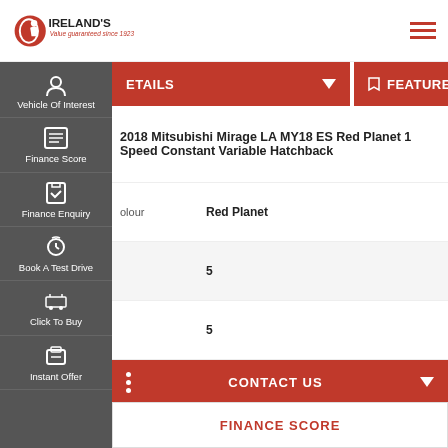[Figure (logo): Ireland's logo - red circular logo with text 'IRELAND'S Value guaranteed since 1923']
DETAILS
FEATURES
Vehicle Of Interest
Finance Score
Finance Enquiry
Book A Test Drive
Click To Buy
Instant Offer
| Field | Value |
| --- | --- |
|  | 2018 Mitsubishi Mirage LA MY18 ES Red Planet 1 Speed Constant Variable Hatchback |
| olour | Red Planet |
|  | 5 |
|  | 5 |
| rs | 3 |
| e | Petrol - Unleaded |
CONTACT US
FINANCE SCORE